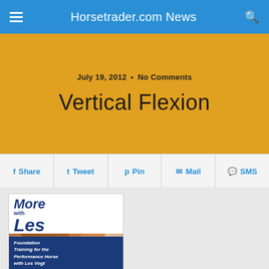Horsetrader.com News
July 19, 2012 • No Comments
Vertical Flexion
Share  Tweet  Pin  Mail  SMS
[Figure (photo): Book cover for 'More with Les: Foundation Training for the Performance Horse with Les Vogt' showing a man in a cowboy hat with a horse]